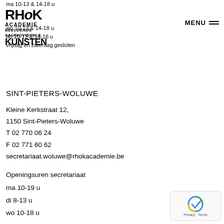ma  10-13 & 14-18 u
[Figure (logo): RHoK Academie Beeldende & Audiovisuele Kunsten logo]
wo  10-13 & 14-18 u
do  10-13 & 14-18 u
vrijdag en zaterdag gesloten
MENU
SINT-PIETERS-WOLUWE
Kleine Kerkstraat 12,
1150 Sint-Pieters-Woluwe
T 02 770 06 24
F 02 771 60 62
secretariaat.woluwe@rhokacademie.be
Openingsuren secretariaat
ma  10-19 u
di  8-13 u
wo  10-18 u